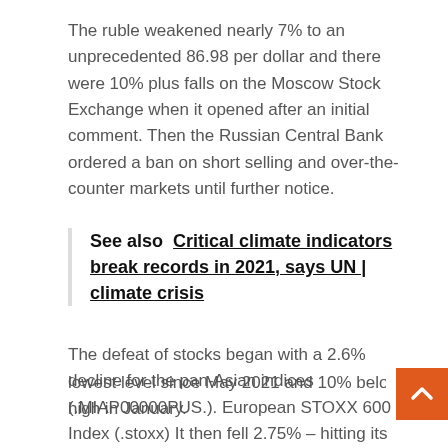The ruble weakened nearly 7% to an unprecedented 86.98 per dollar and there were 10% plus falls on the Moscow Stock Exchange when it opened after an initial comment. Then the Russian Central Bank ordered a ban on short selling and over-the-counter markets until further notice.
See also  Critical climate indicators break records in 2021, says UN | climate crisis
The defeat of stocks began with a 2.6% decline for the pan-Asian indices (.MIAP00000PUS.). European STOXX 600 Index (.stoxx) It then fell 2.75% – hitting its lowest level since May 2021 and 10% below its record high in January.